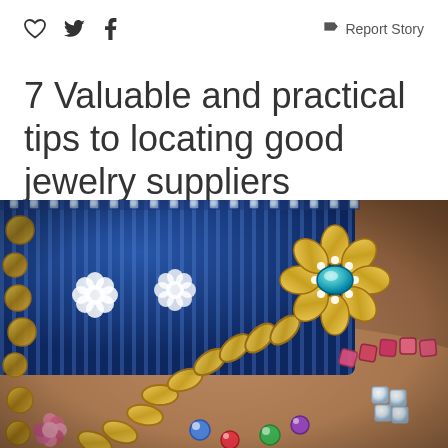♡  🐦  f   Report Story
7 Valuable and practical tips to locating good jewelry suppliers
[Figure (photo): A jewelry box with gold bracelets, diamond flower brooches, and colorful gemstone jewelry scattered around it. Blue striped jewelry box in background with various necklaces, rings and brooches displayed.]